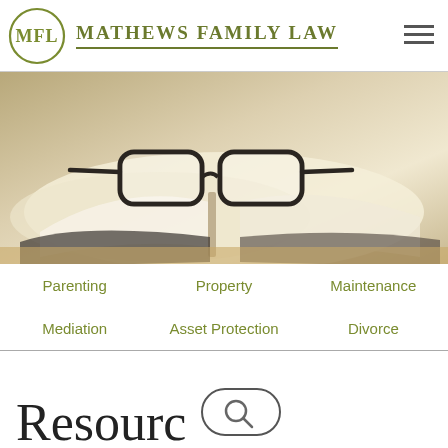MATHEWS FAMILY LAW
[Figure (photo): Photo of eyeglasses resting on an open book, warm light background]
Parenting
Property
Maintenance
Mediation
Asset Protection
Divorce
Resourc